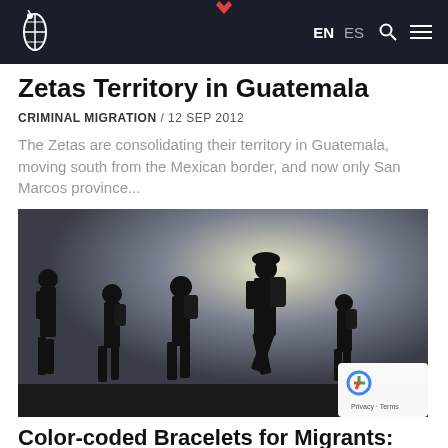InSight Crime — EN ES [search] [menu]
Zetas Territory in Guatemala
CRIMINAL MIGRATION / 12 SEP 2012
The Zetas are consolidating their territory in Guatemala, moving south from the Mexican border, and now only San Marcos province...
[Figure (photo): Silhouette of five migrants walking with backpacks against a bright sky background]
Color-coded Bracelets for Migrants: